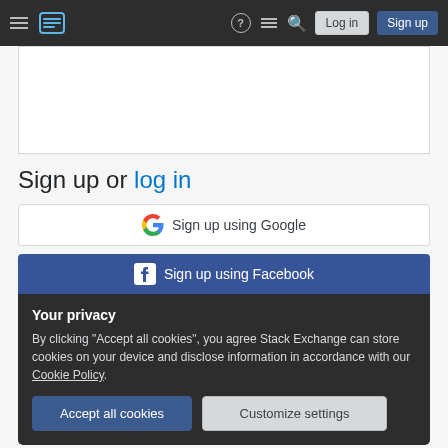Stack Exchange navigation bar with hamburger menu, logo, help, chat, search, Log in, Sign up buttons
[Figure (screenshot): Empty white content box (partial, top of page content area)]
Sign up or log in
[Figure (screenshot): Sign up using Google button]
[Figure (screenshot): Sign up using Facebook button with privacy notice overlay containing Accept all cookies and Customize settings buttons]